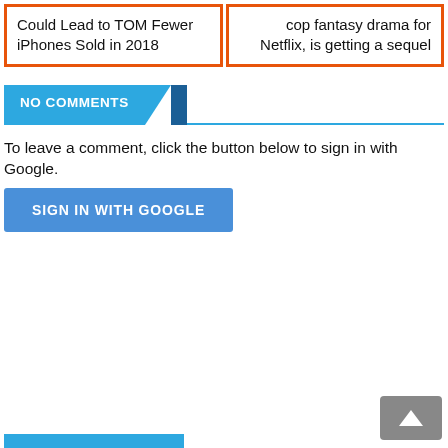Could Lead to TOM Fewer iPhones Sold in 2018
cop fantasy drama for Netflix, is getting a sequel
NO COMMENTS
To leave a comment, click the button below to sign in with Google.
SIGN IN WITH GOOGLE